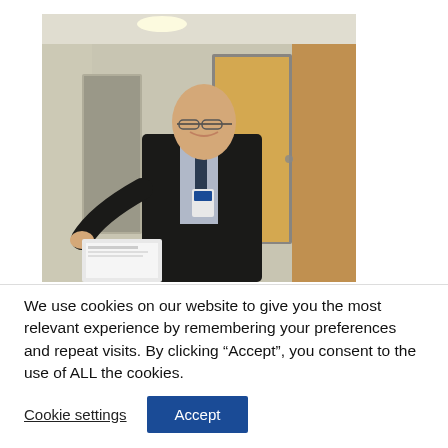[Figure (photo): A bald man wearing glasses, a dark suit and tie, with a hospital ID badge, smiling and pointing at a document in a hospital corridor setting.]
We use cookies on our website to give you the most relevant experience by remembering your preferences and repeat visits. By clicking “Accept”, you consent to the use of ALL the cookies.
Cookie settings
Accept